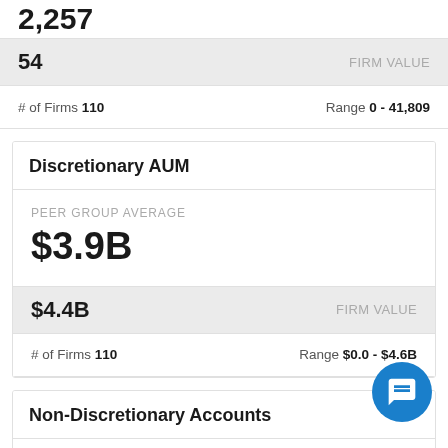2,257
54   FIRM VALUE
# of Firms 110   Range 0 - 41,809
Discretionary AUM
PEER GROUP AVERAGE
$3.9B
$4.4B   FIRM VALUE
# of Firms 110   Range $0.0 - $4.6B
Non-Discretionary Accounts
PEER GROUP AVERAGE